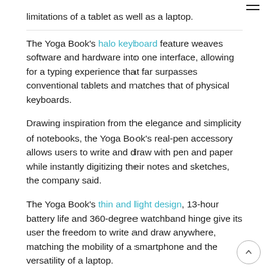limitations of a tablet as well as a laptop.
The Yoga Book's halo keyboard feature weaves software and hardware into one interface, allowing for a typing experience that far surpasses conventional tablets and matches that of physical keyboards.
Drawing inspiration from the elegance and simplicity of notebooks, the Yoga Book's real-pen accessory allows users to write and draw with pen and paper while instantly digitizing their notes and sketches, the company said.
The Yoga Book's thin and light design, 13-hour battery life and 360-degree watchband hinge give its user the freedom to write and draw anywhere, matching the mobility of a smartphone and the versatility of a laptop.